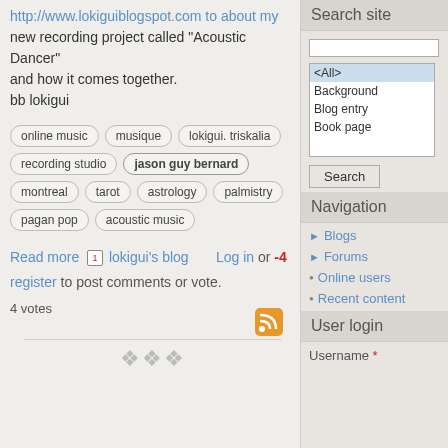new recording project called "Acoustic Dancer" and how it comes together.
bb lokigui
online music
musique
lokigui. triskalia
recording studio
jason guy bernard
montreal
tarot
astrology
palmistry
pagan pop
acoustic music
Read more  lokigui's blog  Log in or register to post comments or vote.  -4
4 votes
Search site
Navigation
Blogs
Forums
Online users
Recent content
User login
Username *